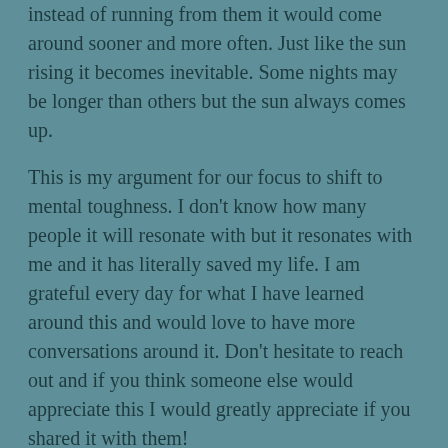...instead of running from them it would come around sooner and more often. Just like the sun rising it becomes inevitable. Some nights may be longer than others but the sun always comes up.
This is my argument for our focus to shift to mental toughness. I don't know how many people it will resonate with but it resonates with me and it has literally saved my life. I am grateful every day for what I have learned around this and would love to have more conversations around it. Don't hesitate to reach out and if you think someone else would appreciate this I would greatly appreciate if you shared it with them!
OCTOBER 3, 2021 · 1 COMMENT
Someday The Thief